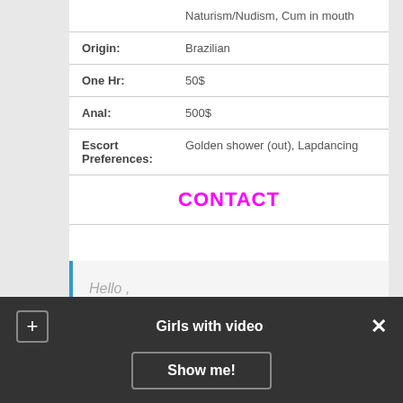|  | Naturism/Nudism, Cum in mouth |
| Origin: | Brazilian |
| One Hr: | 50$ |
| Anal: | 500$ |
| Escort Preferences: | Golden shower (out), Lapdancing |
CONTACT
Hello ,
Julian
Girls with video  Show me!